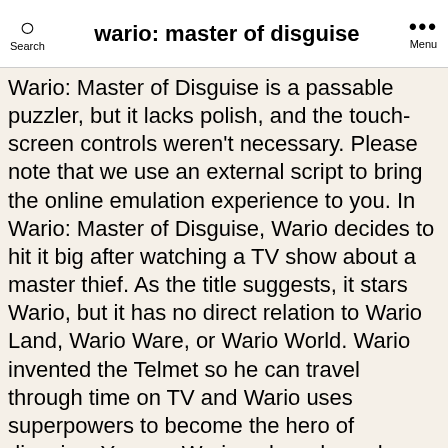wario: master of disguise
Wario: Master of Disguise is a passable puzzler, but it lacks polish, and the touch-screen controls weren't necessary. Please note that we use an external script to bring the online emulation experience to you. In Wario: Master of Disguise, Wario decides to hit it big after watching a TV show about a master thief. As the title suggests, it stars Wario, but it has no direct relation to Wario Land, Wario Ware, or Wario World. Wario invented the Telmet so he can travel through time on TV and Wario uses superpowers to become the hero of disguise. You are Wario, a bored couch potato. 0. You may be interested in: Start Game. If you enjoyed this game and want to play similar fun games then make sure to play Yu-Gi-Oh! After that, use Graffiti Wario or Dinosaur Wario to get rid of the Blocks, and return to the previous tall room. It's a hokey plot, even for a Wario game, and the writing and humour is too reliant on bathroom jokes, even for a Wario game. Add to Favorite. Wario's ally in Wario: Master